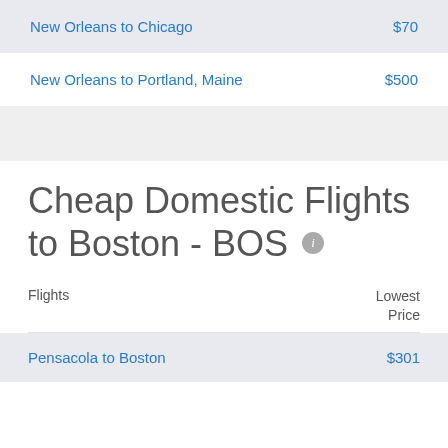| Flights | Lowest Price |
| --- | --- |
| New Orleans to Chicago | $70 |
| New Orleans to Portland, Maine | $500 |
| Pensacola to Boston | $301 |
Cheap Domestic Flights to Boston - BOS
| Flights | Lowest Price |
| --- | --- |
| Pensacola to Boston | $301 |